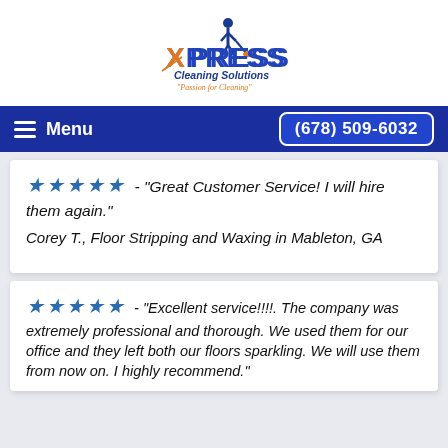[Figure (logo): Xpress Cleaning Solutions logo with 'Passion for Cleaning' tagline]
Menu  (678) 509-6032
★★★★★ - "Great Customer Service! I will hire them again."
Corey T., Floor Stripping and Waxing in Mableton, GA
★★★★★ - "Excellent service!!!!. The company was extremely professional and thorough. We used them for our office and they left both our floors sparkling. We will use them from now on. I highly recommend."